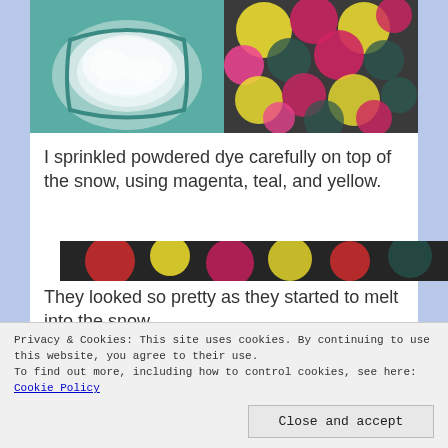[Figure (photo): Two photos side by side: left shows white fabric/material soaking in a green teal bucket; right shows colorful tie-dye fabric with magenta, yellow, teal, and dark colors on dark background.]
I sprinkled powdered dye carefully on top of the snow, using magenta, teal, and yellow.
They looked so pretty as they started to melt into the snow.
[Figure (photo): Bottom partial photo showing colorful tie-dye fabric with red, yellow, and dark colors.]
Privacy & Cookies: This site uses cookies. By continuing to use this website, you agree to their use.
To find out more, including how to control cookies, see here: Cookie Policy
Close and accept